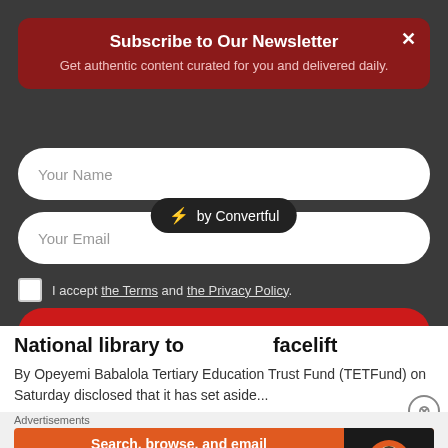Subscribe to Our Newsletter
Get authentic content curated for you and delivered daily.
Your Name
Your Email
I accept the Terms and the Privacy Policy.
Subscribe Now
[Figure (screenshot): by Convertful badge - dark pill-shaped label with lightning bolt icon]
National library to...acelift
By Opeyemi Babalola Tertiary Education Trust Fund (TETFund) on Saturday disclosed that it has set aside...
Featured   Nigeria
Advertisements
[Figure (screenshot): DuckDuckGo advertisement banner: Search, browse, and email with more privacy. All in One Free App]